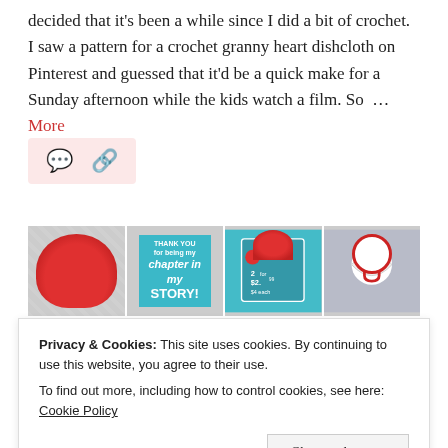decided that it's been a while since I did a bit of crochet. I saw a pattern for a crochet granny heart dishcloth on Pinterest and guessed that it'd be a quick make for a Sunday afternoon while the kids watch a film. So … More
[Figure (other): Social media icon bar with comment bubble and link icons on a light pink background]
[Figure (photo): Strip of four craft/gift-related photos: red cupcake on green background, thank you story card in teal, teal gift bag with red polka dot tag, and black/white gift with red ribbon bow]
Privacy & Cookies: This site uses cookies. By continuing to use this website, you agree to their use.
To find out more, including how to control cookies, see here: Cookie Policy
Close and accept
[Figure (photo): Partial bottom strip of craft images including teal items, chalkboard text, and red round items]